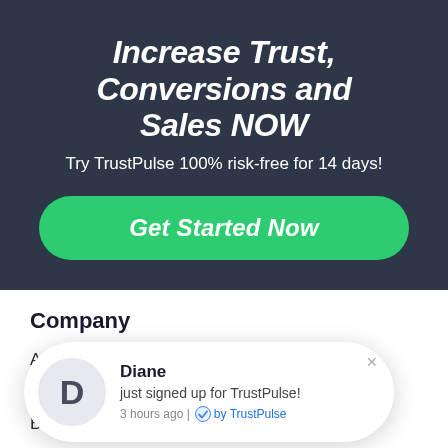Increase Trust, Conversions and Sales NOW
Try TrustPulse 100% risk-free for 14 days!
Get Started Now
Company
About Us
We're
Blog
Contact
[Figure (screenshot): TrustPulse social proof notification popup showing 'D' avatar, name Diane, message 'just signed up for TrustPulse!', '3 hours ago | by TrustPulse', with close X button]